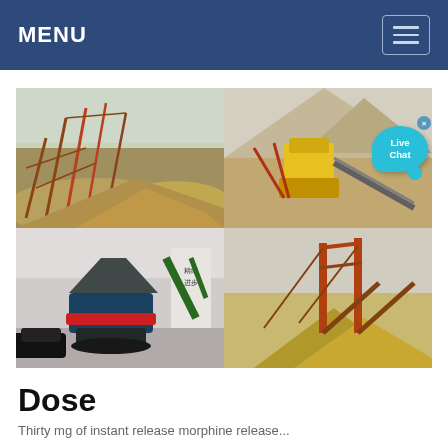MENU
[Figure (photo): Four-panel photo grid showing mining/crushing equipment and industrial facilities: top-left shows conveyor and stockpile, top-right shows jaw crusher in mountain quarry with Live Chat bubble overlay, bottom-left shows cone crusher indoors with machinery, bottom-right shows conveyor structures and stockpile outdoor]
Dose
Thirty mg of instant release morphine release...